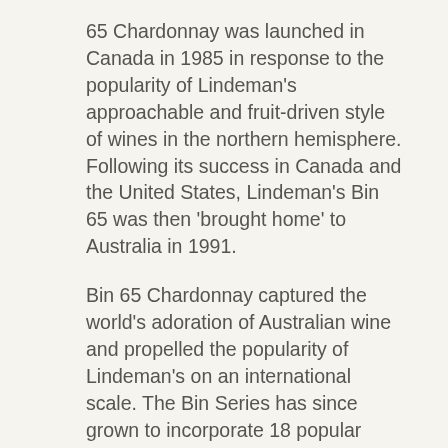65 Chardonnay was launched in Canada in 1985 in response to the popularity of Lindeman's approachable and fruit-driven style of wines in the northern hemisphere. Following its success in Canada and the United States, Lindeman's Bin 65 was then 'brought home' to Australia in 1991.
Bin 65 Chardonnay captured the world's adoration of Australian wine and propelled the popularity of Lindeman's on an international scale. The Bin Series has since grown to incorporate 18 popular varieties.
Today, Lindeman's is enjoyed in over 100 countries around the world. We are proud to draw on 170+ years of continued winemaking and entrepreneurship to craft popular wine styles that people simply love to drink.